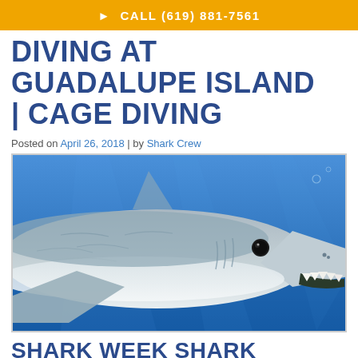🦈 CALL (619) 881-7561
DIVING AT GUADALUPE ISLAND | CAGE DIVING
Posted on April 26, 2018 | by Shark Crew
[Figure (photo): Close-up underwater photo of a great white shark facing right, with open mouth showing teeth, against a blue ocean background.]
SHARK WEEK SHARK